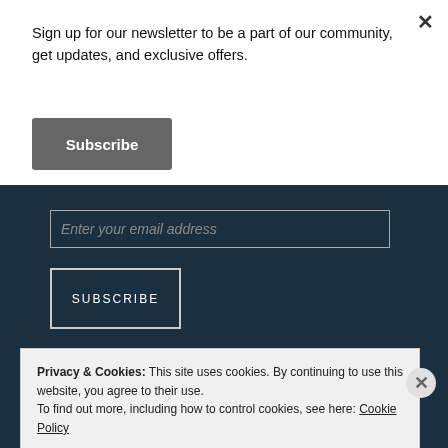Sign up for our newsletter to be a part of our community, get updates, and exclusive offers.
Subscribe
[Figure (screenshot): Email input field with placeholder text 'Enter your email address' on dark teal background]
SUBSCRIBE
Join 1,092 other followers
Privacy & Cookies: This site uses cookies. By continuing to use this website, you agree to their use.
To find out more, including how to control cookies, see here: Cookie Policy
Close and accept